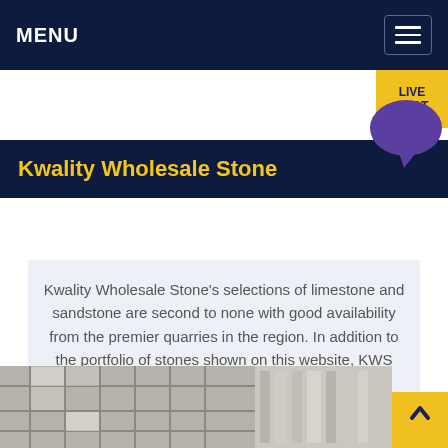MENU
Kwality Wholesale Stone
Kwality Wholesale Stone's selections of limestone and sandstone are second to none with good availability from the premier quarries in the region. In addition to the portfolio of stones shown on this website, KWS has many more displayed and stocked at our Rock Yard loed at 10624 Ranch Rd 620 North, Austin TX 78726, which is open 7am to 5pm Monday through Friday.
[Figure (photo): Photo strip at bottom showing stone yard / rock display with grid-like window structure on left and stone slabs on right]